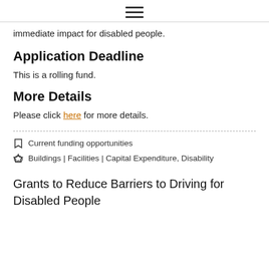☰ (menu icon)
immediate impact for disabled people.
Application Deadline
This is a rolling fund.
More Details
Please click here for more details.
Current funding opportunities
Buildings | Facilities | Capital Expenditure, Disability
Grants to Reduce Barriers to Driving for Disabled People